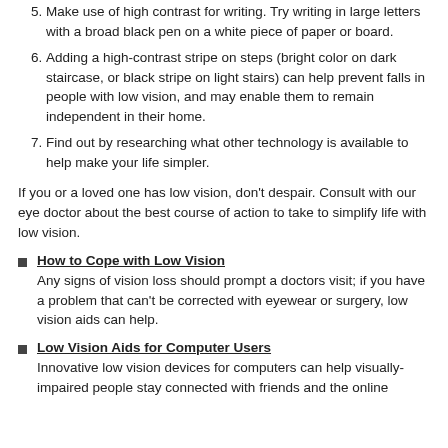5. Make use of high contrast for writing. Try writing in large letters with a broad black pen on a white piece of paper or board.
6. Adding a high-contrast stripe on steps (bright color on dark staircase, or black stripe on light stairs) can help prevent falls in people with low vision, and may enable them to remain independent in their home.
7. Find out by researching what other technology is available to help make your life simpler.
If you or a loved one has low vision, don't despair. Consult with our eye doctor about the best course of action to take to simplify life with low vision.
How to Cope with Low Vision — Any signs of vision loss should prompt a doctors visit; if you have a problem that can't be corrected with eyewear or surgery, low vision aids can help.
Low Vision Aids for Computer Users — Innovative low vision devices for computers can help visually-impaired people stay connected with friends and the online